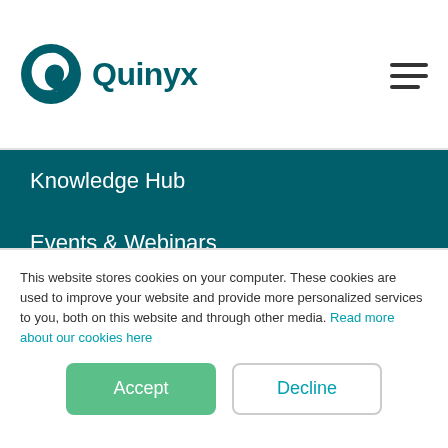Quinyx
Knowledge Hub
Events & Webinars
Product Hub
HELP CENTER
Support
This website stores cookies on your computer. These cookies are used to improve your website and provide more personalized services to you, both on this website and through other media. Read more about our cookies here